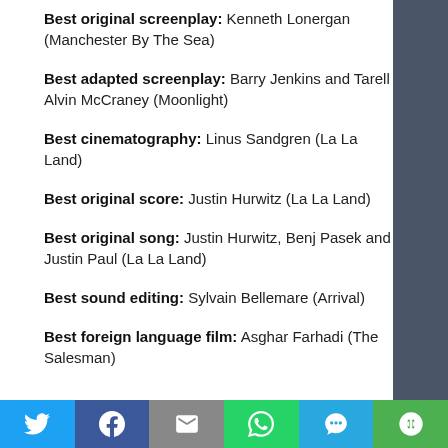Best original screenplay: Kenneth Lonergan (Manchester By The Sea)
Best adapted screenplay: Barry Jenkins and Tarell Alvin McCraney (Moonlight)
Best cinematography: Linus Sandgren (La La Land)
Best original score: Justin Hurwitz (La La Land)
Best original song: Justin Hurwitz, Benj Pasek and Justin Paul (La La Land)
Best sound editing: Sylvain Bellemare (Arrival)
Best foreign language film: Asghar Farhadi (The Salesman)